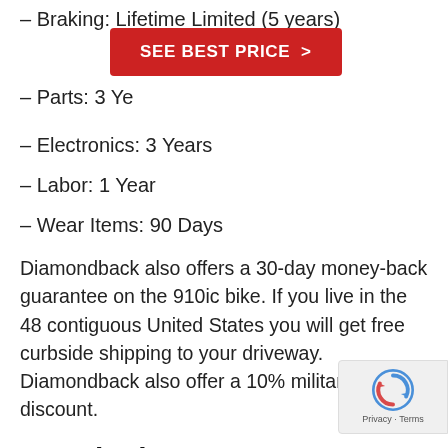– Braking: Lifetime Limited (5 years)
– Parts: 3 Ye[ars]
– Electronics: 3 Years
– Labor: 1 Year
– Wear Items: 90 Days
Diamondback also offers a 30-day money-back guarantee on the 910ic bike. If you live in the 48 contiguous United States you will get free curbside shipping to your driveway. Diamondback also offer a 10% military discount.
Conclusion
The Diamondback 910ic is a solid choice for...